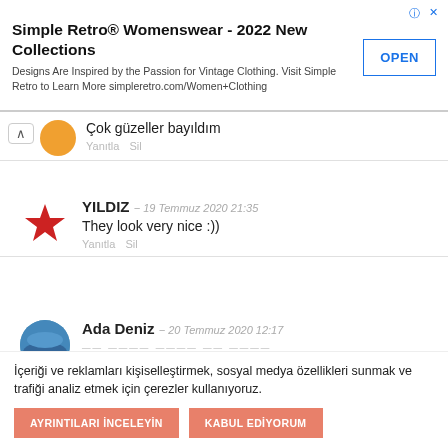[Figure (screenshot): Advertisement banner for Simple Retro® Womenswear - 2022 New Collections with OPEN button]
Çok güzeller bayıldım
Yanıtla   Sil
YILDIZ − 19 Temmuz 2020 21:35
They look very nice :))
Yanıtla   Sil
Ada Deniz − 20 Temmuz 2020 12:17
İçeriği ve reklamları kişiselleştirmek, sosyal medya özellikleri sunmak ve trafiği analiz etmek için çerezler kullanıyoruz.
AYRINTILARI İNCELEYİN   KABUL EDİYORUM